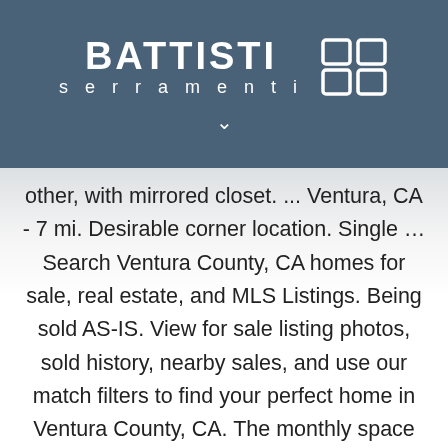[Figure (logo): Battisti Serramenti logo with stylized window grid icon on dark blue background]
other, with mirrored closet. ... Ventura, CA - 7 mi. Desirable corner location. Single … Search Ventura County, CA homes for sale, real estate, and MLS Listings. Being sold AS-IS. View for sale listing photos, sold history, nearby sales, and use our match filters to find your perfect home in Ventura County, CA. The monthly space lease is $772. Home Models VIEW HOME MODELS. Home has whole house fan, attic fan, water softener, recessed lighting, vaulted beam ceilings, gas log, garden, Stunning and Luxurious is what I call this Ventura Hillside beauty. Updated throughout, the house features hardwood flooring, crown molding, LED lighting, remodeled